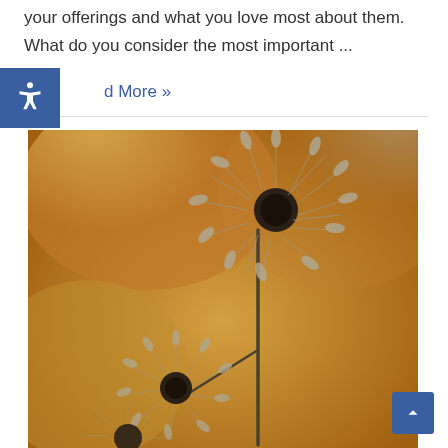your offerings and what you love most about them. What do you consider the most important ...
Read More »
[Figure (photo): Close-up photograph of dandelion seed heads (dandelion clocks) against a warm golden/amber bokeh background, showing intricate detail of the feathery seeds radiating from the center. The image has a sepia-golden tone.]